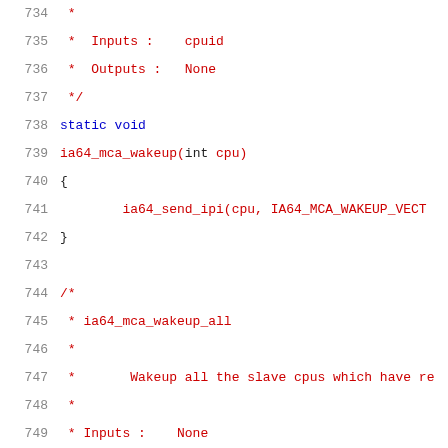734  *
735  *  Inputs :  cpuid
736  *  Outputs :  None
737  */
738  static void
739  ia64_mca_wakeup(int cpu)
740  {
741          ia64_send_ipi(cpu, IA64_MCA_WAKEUP_VECT
742  }
743
744  /*
745   * ia64_mca_wakeup_all
746   *
747   *       Wakeup all the slave cpus which have re
748   *
749   * Inputs :  None
750   * Outputs :  None
751   */
752  static void
753  ia64_mca_wakeup_all(void)
754  {